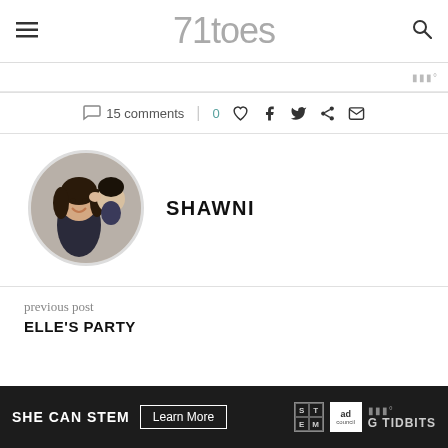71toes
15 comments | 0 ♡ f t p ✉
[Figure (photo): Circular author avatar photo showing a woman smiling with a child kissing her cheek]
SHAWNI
previous post
ELLE'S PARTY
[Figure (infographic): Bottom advertisement banner: SHE CAN STEM with Learn More button, STEM logo, Ad Council logo, and G TIDBITS branding on dark background]